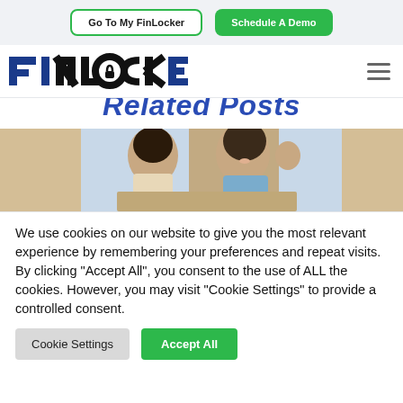Go To My FinLocker | Schedule A Demo
[Figure (logo): FinLocker logo with padlock icon in the letter O, dark blue and blue color scheme]
Related Posts
[Figure (photo): A smiling couple looking at a laptop, man raising fist in celebration]
We use cookies on our website to give you the most relevant experience by remembering your preferences and repeat visits. By clicking "Accept All", you consent to the use of ALL the cookies. However, you may visit "Cookie Settings" to provide a controlled consent.
Cookie Settings | Accept All